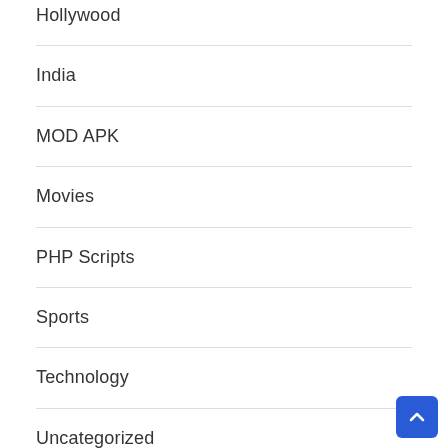Hollywood
India
MOD APK
Movies
PHP Scripts
Sports
Technology
Uncategorized
Web Series